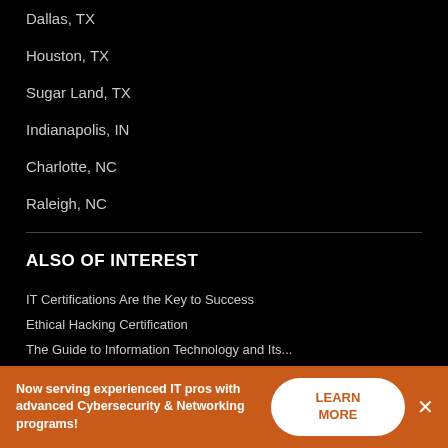Dallas, TX
Houston, TX
Sugar Land, TX
Indianapolis, IN
Charlotte, NC
Raleigh, NC
ALSO OF INTEREST
IT Certifications Are the Key to Success
Ethical Hacking Certification
The Guide to Information Technology and Its...
[Figure (other): Social media icons: Facebook, Instagram, YouTube, LinkedIn, Twitter]
Now serving experienced IT pros with advanced Cybersecurity & Networking programs!
LEARN MORE